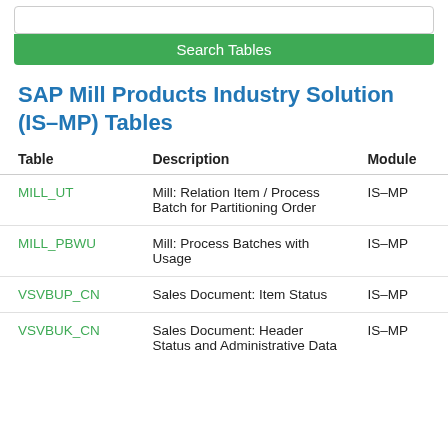[Figure (screenshot): Search bar input box at top of page]
Search Tables
SAP Mill Products Industry Solution (IS–MP) Tables
| Table | Description | Module |
| --- | --- | --- |
| MILL_UT | Mill: Relation Item / Process Batch for Partitioning Order | IS–MP |
| MILL_PBWU | Mill: Process Batches with Usage | IS–MP |
| VSVBUP_CN | Sales Document: Item Status | IS–MP |
| VSVBUK_CN | Sales Document: Header Status and Administrative Data | IS–MP |